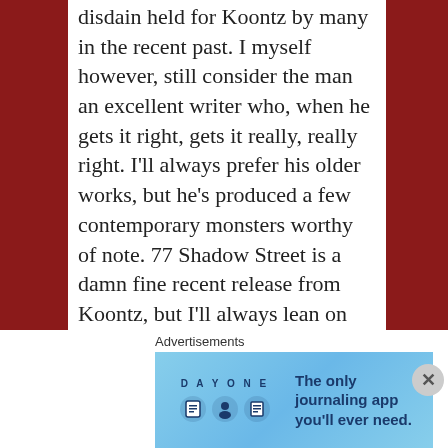94. Dean Koontz: I've confronted a wide disdain held for Koontz by many in the recent past. I myself however, still consider the man an excellent writer who, when he gets it right, gets it really, really right. I'll always prefer his older works, but he's produced a few contemporary monsters worthy of note. 77 Shadow Street is a damn fine recent release from Koontz, but I'll always lean on some of his earlier works: Phantoms, Night Chills, Lightning, The Taking, Watchers and Midnight are all highly rewarding efforts.
Advertisements
[Figure (other): DAY ONE app advertisement banner with light blue background, showing three icons (book, person, notepad) and text: The only journaling app you'll ever need.]